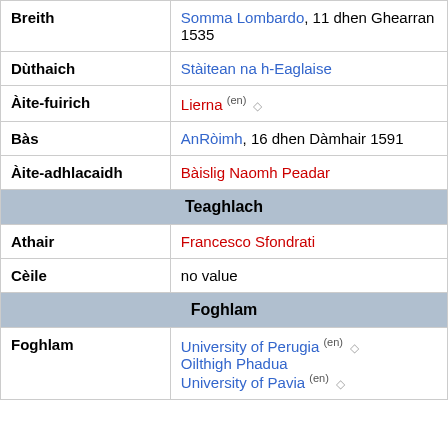| Breith | Somma Lombardo, 11 dhen Ghearran 1535 |
| Dùthaich | Stàitean na h-Eaglaise |
| Àite-fuirich | Lierna (en) ◇ |
| Bàs | AnRòimh, 16 dhen Dàmhair 1591 |
| Àite-adhlacaidh | Bàislig Naomh Peadar |
| Teaghlach |  |
| Athair | Francesco Sfondrati |
| Cèile | no value |
| Foghlam |  |
| Foghlam | University of Perugia (en) ◇
Oilthigh Phadua
University of Pavia (en) ◇ |